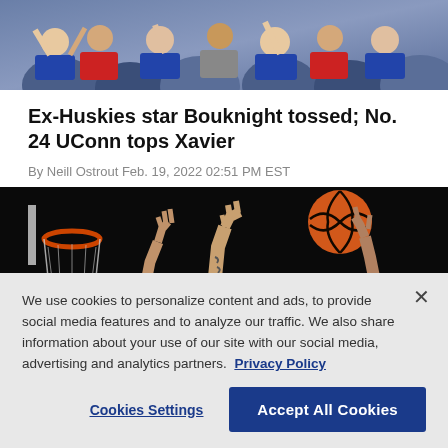[Figure (photo): Crowd of basketball fans cheering, some wearing UConn colors]
Ex-Huskies star Bouknight tossed; No. 24 UConn tops Xavier
By Neill Ostrout Feb. 19, 2022 02:51 PM EST
[Figure (photo): Basketball game action shot showing hands reaching up toward a basketball near a hoop with net visible, dark background]
We use cookies to personalize content and ads, to provide social media features and to analyze our traffic. We also share information about your use of our site with our social media, advertising and analytics partners. Privacy Policy
Cookies Settings   Accept All Cookies